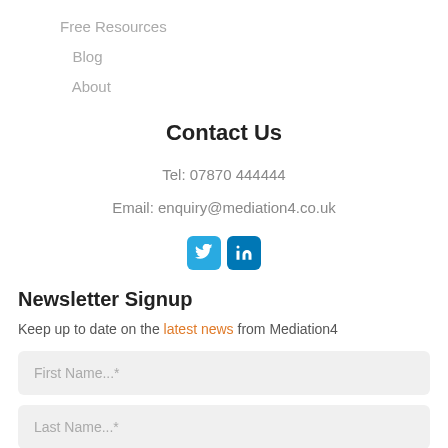Free Resources
Blog
About
Contact Us
Tel: 07870 444444
Email: enquiry@mediation4.co.uk
[Figure (logo): Twitter and LinkedIn social media icons]
Newsletter Signup
Keep up to date on the latest news from Mediation4
First Name...*
Last Name...*